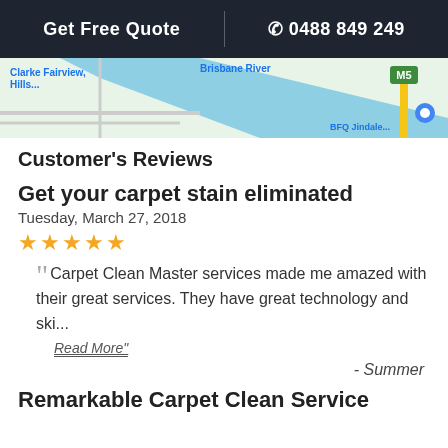Get Free Quote  |  ☎ 0488 849 249
[Figure (map): Partial map showing Brisbane River area with Clarke Fairview Hills and M5 motorway visible]
Customer's Reviews
Get your carpet stain eliminated
Tuesday, March 27, 2018
★★★★★
Carpet Clean Master services made me amazed with their great services. They have great technology and ski...
Read More"
- Summer
Remarkable Carpet Clean Service